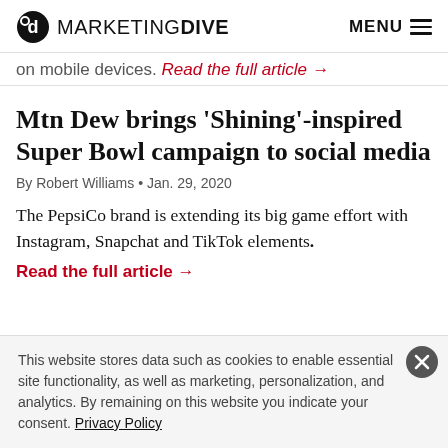MARKETING DIVE  MENU
on mobile devices. Read the full article →
Mtn Dew brings 'Shining'-inspired Super Bowl campaign to social media
By Robert Williams • Jan. 29, 2020
The PepsiCo brand is extending its big game effort with Instagram, Snapchat and TikTok elements.
Read the full article →
This website stores data such as cookies to enable essential site functionality, as well as marketing, personalization, and analytics. By remaining on this website you indicate your consent. Privacy Policy